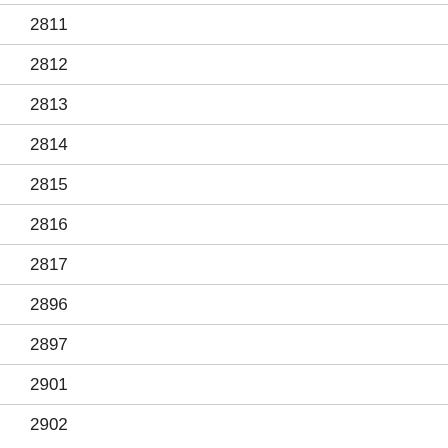2811
2812
2813
2814
2815
2816
2817
2896
2897
2901
2902